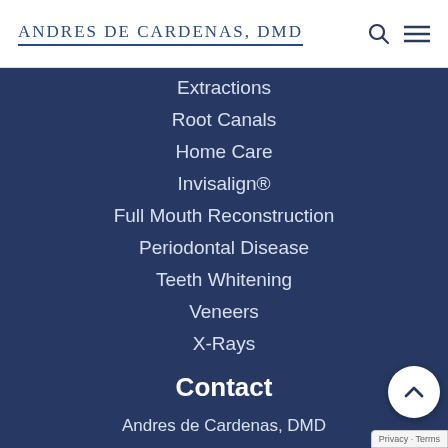Andres de Cardenas, DMD
Extractions
Root Canals
Home Care
Invisalign®
Full Mouth Reconstruction
Periodontal Disease
Teeth Whitening
Veneers
X-Rays
Contact
Andres de Cardenas, DMD
9000 SW 152 St, Suite 108